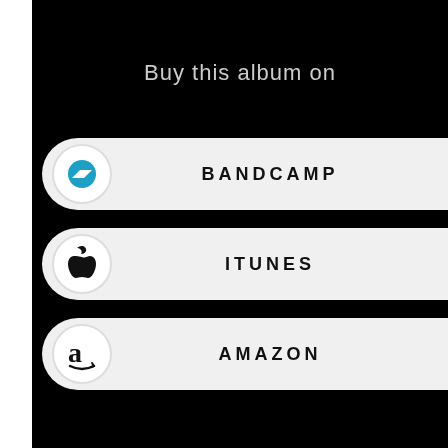Buy this album on
BANDCAMP
ITUNES
AMAZON